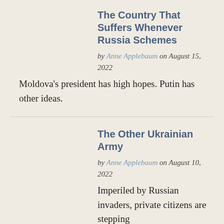The Country That Suffers Whenever Russia Schemes
by Anne Applebaum on August 15, 2022
Moldova's president has high hopes. Putin has other ideas.
The Other Ukrainian Army
by Anne Applebaum on August 10, 2022
Imperiled by Russian invaders, private citizens are stepping forward to do what Ukraine's government cannot.